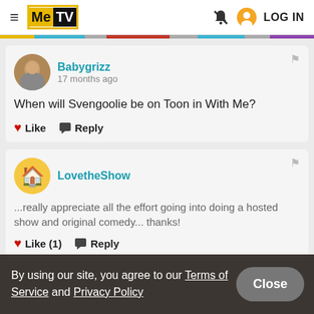MeTV — LOG IN
Babygrizz
17 months ago
When will Svengoolie be on Toon in With Me?
Like   Reply
LovetheShow
...really appreciate all the effort going into doing a hosted show and original comedy... thanks!
Like (1)   Reply
By using our site, you agree to our Terms of Service and Privacy Policy